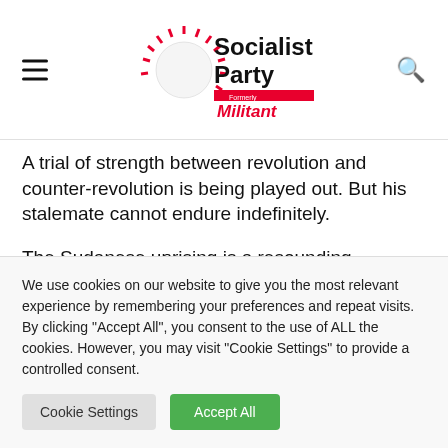Socialist Party — Formerly Militant
A trial of strength between revolution and counter-revolution is being played out. But his stalemate cannot endure indefinitely.
The Sudanese uprising is a resounding confirmation of one of the foundations of Trotsky's Theory of Permanent Revolution (see article on
We use cookies on our website to give you the most relevant experience by remembering your preferences and repeat visits. By clicking "Accept All", you consent to the use of ALL the cookies. However, you may visit "Cookie Settings" to provide a controlled consent.